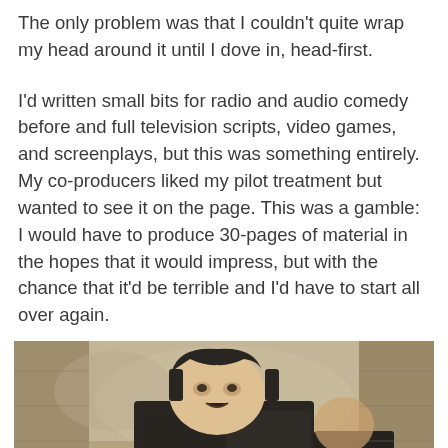The only problem was that I couldn't quite wrap my head around it until I dove in, head-first.
I'd written small bits for radio and audio comedy before and full television scripts, video games, and screenplays, but this was something entirely. My co-producers liked my pilot treatment but wanted to see it on the page. This was a gamble: I would have to produce 30-pages of material in the hopes that it would impress, but with the chance that it'd be terrible and I'd have to start all over again.
[Figure (photo): A dark, moody film still showing a person in a black hooded jacket with their mouth open as if speaking or singing, photographed in a desaturated, sepia-toned outdoor urban environment with stone walls in the background.]